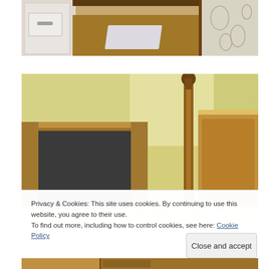[Figure (photo): Interior bedroom photo showing wooden floor, white dresser/cabinet with handle, area rug, and floral bedspread from above angle]
[Figure (photo): Interior bedroom photo showing yellow walls, wooden armoire/wardrobe with dark interior, tall wooden bedpost with decorative finial, and wooden headboard]
Privacy & Cookies: This site uses cookies. By continuing to use this website, you agree to their use.
To find out more, including how to control cookies, see here: Cookie Policy
Close and accept
[Figure (photo): Partial view of bedroom furniture at bottom of page]